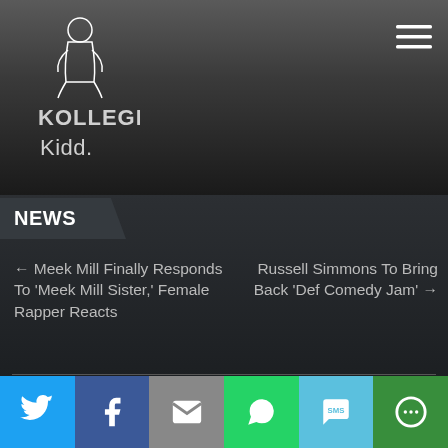[Figure (logo): Kollege Kidd logo - white line art of seated figure with text KOLLEGE Kidd below]
[Figure (other): Hamburger menu icon (three horizontal lines) in top right corner]
NEWS
← Meek Mill Finally Responds To 'Meek Mill Sister,' Female Rapper Reacts
Russell Simmons To Bring Back 'Def Comedy Jam' →
Boosie's Brother Stole $361k From His Bank
[Figure (infographic): Social share bar with Twitter (blue), Facebook (dark blue), Email (grey), WhatsApp (green), SMS (light blue), and More (dark green) buttons]